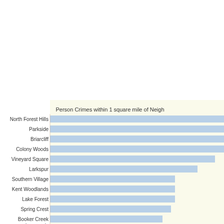[Figure (bar-chart): Person Crimes within 1 square mile of Neigh...]